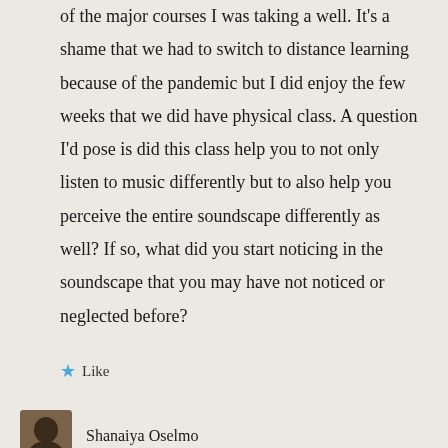of the major courses I was taking a well. It's a shame that we had to switch to distance learning because of the pandemic but I did enjoy the few weeks that we did have physical class. A question I'd pose is did this class help you to not only listen to music differently but to also help you perceive the entire soundscape differently as well? If so, what did you start noticing in the soundscape that you may have not noticed or neglected before?
Like
Shanaiya Oselmo